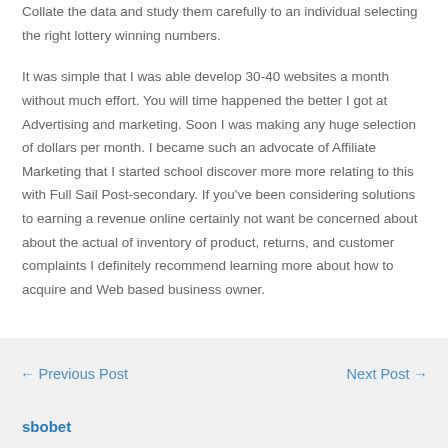Collate the data and study them carefully to an individual selecting the right lottery winning numbers.

It was simple that I was able develop 30-40 websites a month without much effort. You will time happened the better I got at Advertising and marketing. Soon I was making any huge selection of dollars per month. I became such an advocate of Affiliate Marketing that I started school discover more more relating to this with Full Sail Post-secondary. If you've been considering solutions to earning a revenue online certainly not want be concerned about about the actual of inventory of product, returns, and customer complaints I definitely recommend learning more about how to acquire and Web based business owner.
← Previous Post    Next Post →
sbobet